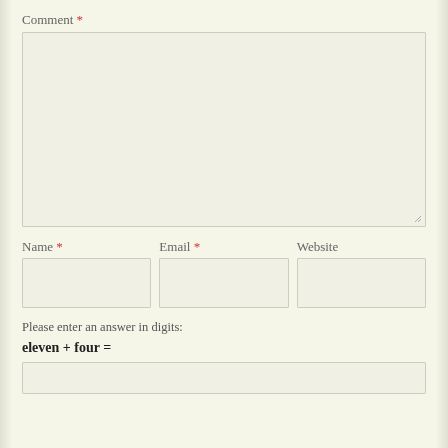Comment *
[Figure (other): Large textarea input field for comment entry with resize handle at bottom-right]
Name *
[Figure (other): Text input field for Name]
Email *
[Figure (other): Text input field for Email]
Website
[Figure (other): Text input field for Website]
Please enter an answer in digits:
eleven + four =
[Figure (other): Text input field for captcha answer]